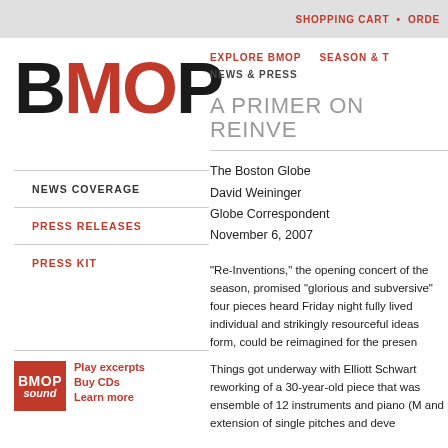SHOPPING CART • ORDE
[Figure (logo): BMOP logo in large bold text, B and P in dark/black, M and O in red]
NEWS COVERAGE
PRESS RELEASES
PRESS KIT
[Figure (logo): BMOP sound logo - red square with BMOP sound text, with links: Play excerpts, Buy CDs, Learn more]
EXPLORE BMOP   SEASON & T
NEWS & PRESS
A PRIMER ON REINVE
The Boston Globe
David Weininger
Globe Correspondent
November 6, 2007
“Re-Inventions,” the opening concert of the season, promised “glorious and subversive” four pieces heard Friday night fully lived individual and strikingly resourceful ideas form, could be reimagined for the presen
Things got underway with Elliott Schwart reworking of a 30-year-old piece that was ensemble of 12 instruments and piano (M and extension of single pitches and deve